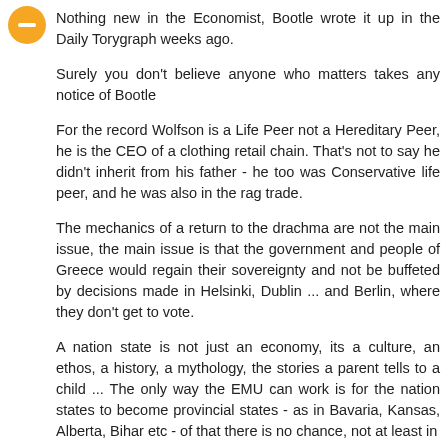[Figure (illustration): Orange circular avatar/user icon with a minus/person symbol in the center]
Nothing new in the Economist, Bootle wrote it up in the Daily Torygraph weeks ago.
Surely you don't believe anyone who matters takes any notice of Bootle
For the record Wolfson is a Life Peer not a Hereditary Peer, he is the CEO of a clothing retail chain. That's not to say he didn't inherit from his father - he too was Conservative life peer, and he was also in the rag trade.
The mechanics of a return to the drachma are not the main issue, the main issue is that the government and people of Greece would regain their sovereignty and not be buffeted by decisions made in Helsinki, Dublin ... and Berlin, where they don't get to vote.
A nation state is not just an economy, its a culture, an ethos, a history, a mythology, the stories a parent tells to a child ... The only way the EMU can work is for the nation states to become provincial states - as in Bavaria, Kansas, Alberta, Bihar etc - of that there is no chance, not at least in